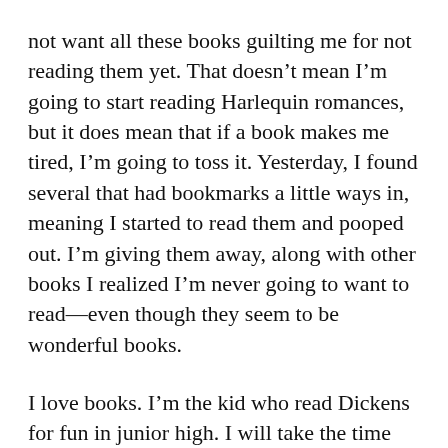not want all these books guilting me for not reading them yet. That doesn't mean I'm going to start reading Harlequin romances, but it does mean that if a book makes me tired, I'm going to toss it. Yesterday, I found several that had bookmarks a little ways in, meaning I started to read them and pooped out. I'm giving them away, along with other books I realized I'm never going to want to read—even though they seem to be wonderful books.
I love books. I'm the kid who read Dickens for fun in junior high. I will take the time for a long novel with a strong story, beautiful language and old-fashioned careful editing. But something tossed out and full of typos, no. Books that drummer on with...